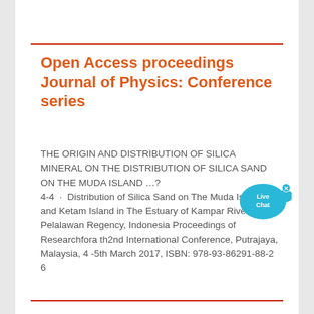Open Access proceedings Journal of Physics: Conference series
THE ORIGIN AND DISTRIBUTION OF SILICA MINERAL ON THE DISTRIBUTION OF SILICA SAND ON THE MUDA ISLAND …? 4-4 · Distribution of Silica Sand on The Muda Island and Ketam Island in The Estuary of Kampar River, Pelalawan Regency, Indonesia Proceedings of Researchfora th2nd International Conference, Putrajaya, Malaysia, 4 -5th March 2017, ISBN: 978-93-86291-88-2 6